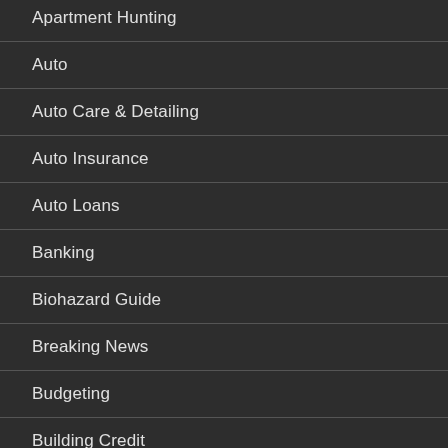Apartment Hunting
Auto
Auto Care & Detailing
Auto Insurance
Auto Loans
Banking
Biohazard Guide
Breaking News
Budgeting
Building Credit
Building Wealth